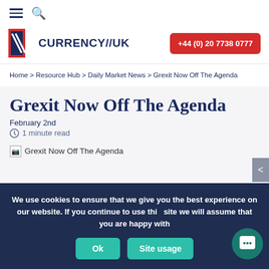≡ 🔍
[Figure (logo): Currency//UK logo with red/blue flag icon and company name, plus phone number button +44 (0) 20 7738 0777]
Home > Resource Hub > Daily Market News > Grexit Now Off The Agenda
Grexit Now Off The Agenda
February 2nd
1 minute read
[Figure (illustration): Broken image placeholder with text: Grexit Now Off The Agenda]
We use cookies to ensure that we give you the best experience on our website. If you continue to use this site we will assume that you are happy with
Ok   Site usage